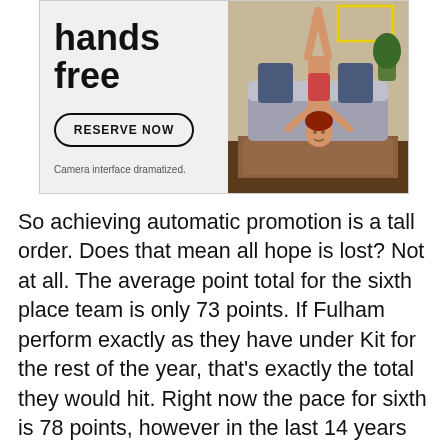[Figure (photo): Advertisement banner showing 'hands free' text with a RESERVE NOW button and 'Camera interface dramatized.' disclaimer on the left, and a photo of a woman doing a handstand in a living room on the right.]
So achieving automatic promotion is a tall order. Does that mean all hope is lost? Not at all. The average point total for the sixth place team is only 73 points. If Fulham perform exactly as they have under Kit for the rest of the year, that's exactly the total they would hit. Right now the pace for sixth is 78 points, however in the last 14 years no team finishing sixth has ever had more than 75 points. The sixth place team has finished with as little as 68 points. Sixth place is a realistic goal for Fulham. If the team don't fall off Kit's pace, they will